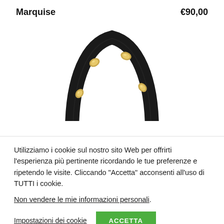Marquise
€90,00
[Figure (photo): Black leather bracelet/strap curved into an arch shape with gold oval metallic stud embellishments, photographed on a white background]
Utilizziamo i cookie sul nostro sito Web per offrirti l'esperienza più pertinente ricordando le tue preferenze e ripetendo le visite. Cliccando "Accetta" acconsenti all'uso di TUTTI i cookie.
Non vendere le mie informazioni personali.
Impostazioni dei cookie
ACCETTA